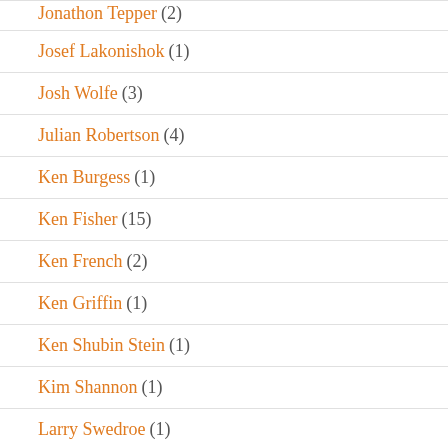Jonathon Tepper (2)
Josef Lakonishok (1)
Josh Wolfe (3)
Julian Robertson (4)
Ken Burgess (1)
Ken Fisher (15)
Ken French (2)
Ken Griffin (1)
Ken Shubin Stein (1)
Kim Shannon (1)
Larry Swedroe (1)